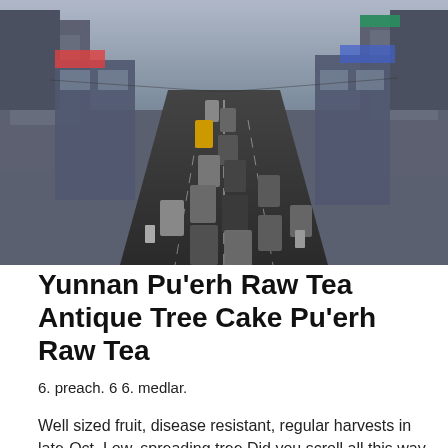[Figure (photo): Aerial view of a busy city street with heavy traffic, multiple lanes of cars and motorcycles, flanked by commercial buildings and billboards, taken from above in an urban setting, overcast sky.]
Yunnan Pu'erh Raw Tea Antique Tree Cake Pu'erh Raw Tea
6. preach. 6 6. medlar.
Well sized fruit, disease resistant, regular harvests in late-Oct. Low, spreading tree Did you scroll all this way to get facts about medlar tree? Well you're